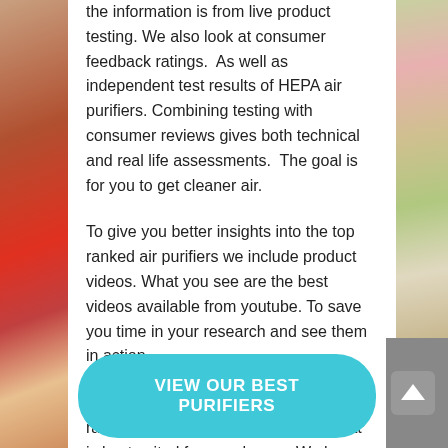the information is from live product testing. We also look at consumer feedback ratings.  As well as independent test results of HEPA air purifiers. Combining testing with consumer reviews gives both technical and real life assessments.  The goal is for you to get cleaner air.
To give you better insights into the top ranked air purifiers we include product videos. What you see are the best videos available from youtube. To save you time in your research and see them in action.
Therefore with the listing of air purifier ratings you can find the air cleaner that is best suited for your home.  We hope that you find our site a valuable resource.  And to save you time in your quest for clean air.
VIEW OUR BEST PURIFIERS